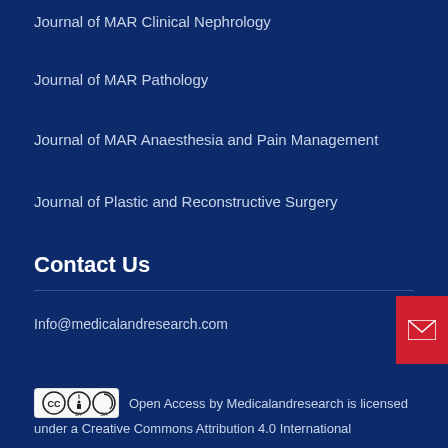Journal of MAR Clinical Nephrology
Journal of MAR Pathology
Journal of MAR Anaesthesia and Pain Management
Journal of Plastic and Reconstructive Surgery
Contact Us
Info@medicalandresearch.com
Open Access by Medicalandresearch is licensed under a Creative Commons Attribution 4.0 International